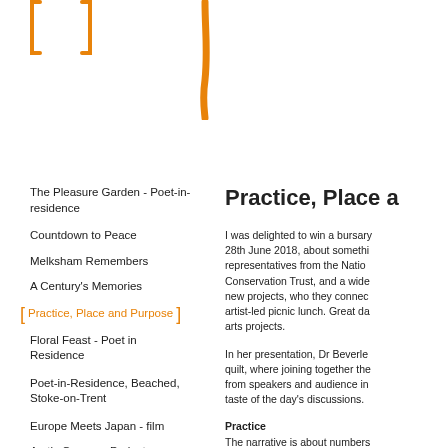[Figure (illustration): Orange decorative square bracket symbol top-left]
[Figure (illustration): Orange vertical decorative line/stroke at top center]
The Pleasure Garden - Poet-in-residence
Countdown to Peace
Melksham Remembers
A Century's Memories
Practice, Place and Purpose
Floral Feast - Poet in Residence
Poet-in-Residence, Beached, Stoke-on-Trent
Europe Meets Japan - film
Arctic Convoys Project
Practice, Place a
I was delighted to win a bursary 28th June 2018, about somethi representatives from the Natio Conservation Trust, and a wide new projects, who they connec artist-led picnic lunch. Great da arts projects.
In her presentation, Dr Beverle quilt, where joining together the from speakers and audience in taste of the day's discussions.
Practice
The narrative is about numbers and the politicians like stories but data loses the small details